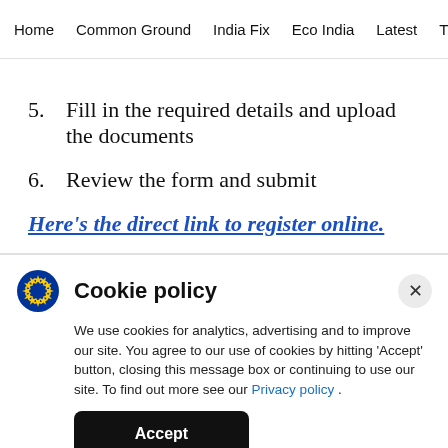Home  Common Ground  India Fix  Eco India  Latest  Th
5. Fill in the required details and upload the documents
6. Review the form and submit
Here's the direct link to register online.
Cookie policy
We use cookies for analytics, advertising and to improve our site. You agree to our use of cookies by hitting 'Accept' button, closing this message box or continuing to use our site. To find out more see our Privacy policy .
Accept